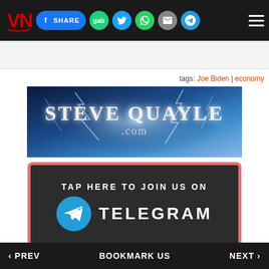VN | SHARE | gab | (twitter) | (whatsapp) | (email) | (telegram) | (menu)
tags: Joe Biden | economy
[Figure (photo): Steve Quayle .com advertisement banner with lightning and cosmic background]
[Figure (infographic): Tap Here To Join Us On Telegram banner with Telegram logo on dark background with red border]
Around the Web
Sponsored by Revcontent
[Figure (photo): Casino/slot machines scene thumbnail]
[Figure (photo): Person thumbnail]
< PREV | BOOKMARK US | NEXT >